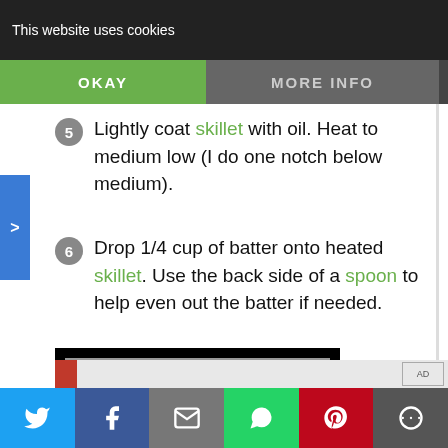This website uses cookies
OKAY
MORE INFO
Lightly coat skillet with oil. Heat to medium low (I do one notch below medium).
Drop 1/4 cup of batter onto heated skillet. Use the back side of a spoon to help even out the batter if needed.
[Figure (screenshot): Video player thumbnail with cyan/teal play button logo on grey background surrounded by black bars]
es begin to form golden, about 2
Social share bar with Twitter, Facebook, Email, WhatsApp, Pinterest, and More buttons